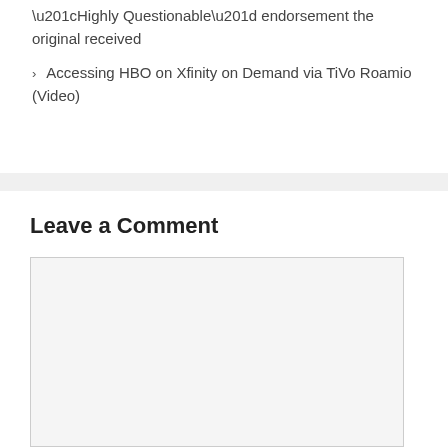“Highly Questionable” endorsement the original received
Accessing HBO on Xfinity on Demand via TiVo Roamio (Video)
Leave a Comment